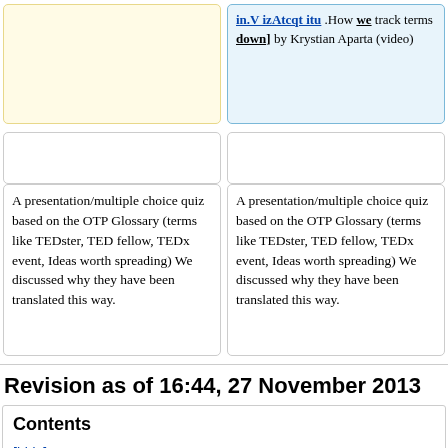...track terms down] by Krystian Aparta (video)
A presentation/multiple choice quiz based on the OTP Glossary (terms like TEDster, TED fellow, TEDx event, Ideas worth spreading) We discussed why they have been translated this way.
A presentation/multiple choice quiz based on the OTP Glossary (terms like TEDster, TED fellow, TEDx event, Ideas worth spreading) We discussed why they have been translated this way.
Revision as of 16:44, 27 November 2013
Contents
[hide]